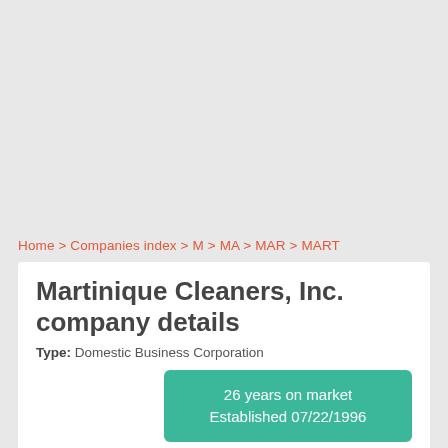Home > Companies index > M > MA > MAR > MART
Martinique Cleaners, Inc. company details
Type: Domestic Business Corporation
26 years on market
Established 07/22/1996
Ki Bong Chang
DOS Process Name